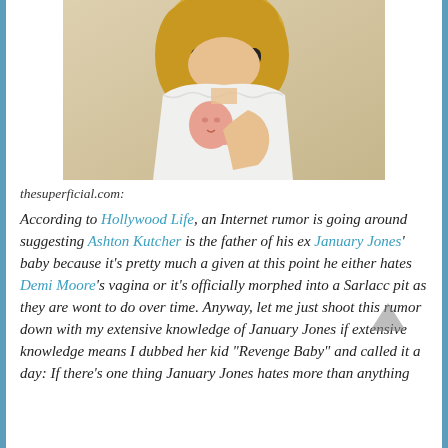[Figure (photo): A blonde woman wearing sunglasses holding a newborn baby against her chest, wearing a white lace top.]
thesuperficial.com:
According to Hollywood Life, an Internet rumor is going around suggesting Ashton Kutcher is the father of his ex January Jones' baby because it's pretty much a given at this point he either hates Demi Moore's vagina or it's officially morphed into a Sarlacc pit as they are wont to do over time. Anyway, let me just shoot this rumor down with my extensive knowledge of January Jones if extensive knowledge means I dubbed her kid "Revenge Baby" and called it a day: If there's one thing January Jones hates more than anything